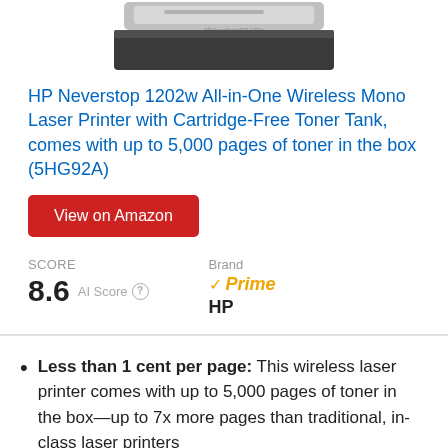[Figure (photo): HP Neverstop 1202w laser printer product photo, top portion visible showing gray and dark body]
HP Neverstop 1202w All-in-One Wireless Mono Laser Printer with Cartridge-Free Toner Tank, comes with up to 5,000 pages of toner in the box (5HG92A)
View on Amazon
SCORE
8.6 AI Score
Brand
✓Prime
HP
Less than 1 cent per page: This wireless laser printer comes with up to 5,000 pages of toner in the box—up to 7x more pages than traditional, in-class laser printers